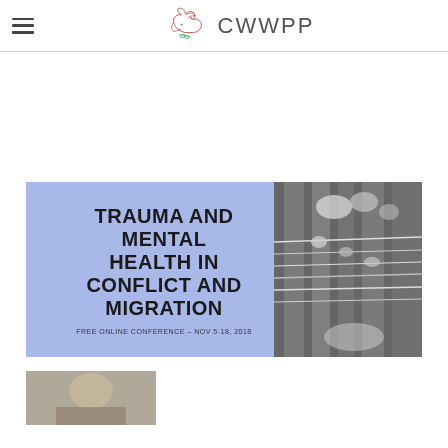CWWPP
[Figure (illustration): Banner image for free online conference 'Trauma and Mental Health in Conflict and Migration', Nov 5-18, 2018. Light blue/periwinkle background with bold black uppercase text on the left side and a black-and-white photo of guitar strings on the right.]
[Figure (photo): Partial photo visible at the bottom of the page, appears to show a person.]